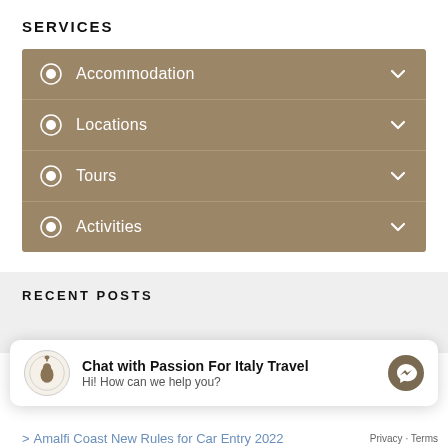SERVICES
Accommodation
Locations
Tours
Activities
RECENT POSTS
Chat with Passion For Italy Travel
Hi! How can we help you?
Privacy · Terms
Amalfi Coast New Rules for Car Entry 2022